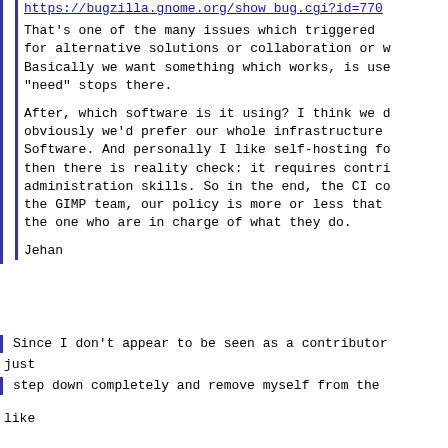https://bugzilla.gnome.org/show_bug.cgi?id=770...
That's one of the many issues which triggered ... for alternative solutions or collaboration or ... Basically we want something which works, is use... "need" stops there.
After, which software is it using? I think we ... obviously we'd prefer our whole infrastructure... Software. And personally I like self-hosting f... then there is reality check: it requires contr... administration skills. So in the end, the CI c... the GIMP team, our policy is more or less that... the one who are in charge of what they do.
Jehan
Since I don't appear to be seen as a contributor... just
step down completely and remove myself from the
like